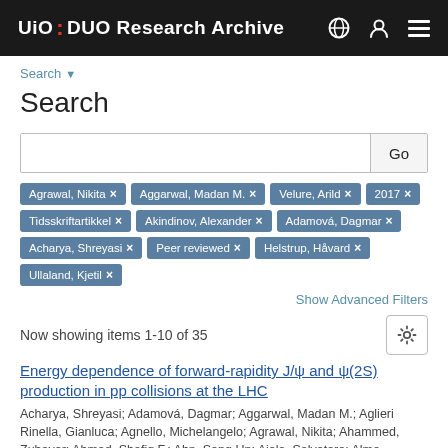UiO: DUO Research Archive
Search ▼
Search
Active filters: Agrawal, Nikita ×; Aggarwal, Madan M. ×; Velure, Arild ×; 2017 ×; Tidsskriftartikkel ×; Akindinov, Alexander ×; Adamová, Dagmar ×; Acharya, Shreyasi ×; Peer reviewed ×; Helstrup, Håvard ×; Ullaland, Kjetil ×
Show Advanced Filters
Now showing items 1-10 of 35
Energy dependence of forward-rapidity J/ψ and ψ(2S) production in pp collisions at the LHC
Acharya, Shreyasi; Adamová, Dagmar; Aggarwal, Madan M.; Aglieri Rinella, Gianluca; Agnello, Michelangelo; Agrawal, Nikita; Ahammed, Zubayer; Ahmad, Shafiq F.; Ahn, Sang Un; Aiola, Salvatore; Alme,